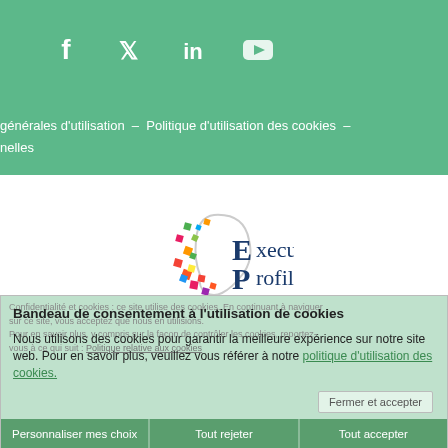f  y  in  ▶
générales d'utilisation – Politique d'utilisation des cookies –
nelles
[Figure (logo): Executive Profiler logo with colorful brain/head profile and EP letters in dark blue]
Confidentialité et cookies : ce site utilise des cookies. En continuant à naviguer sur ce site, vous acceptez que nous en utilisions. Pour en savoir plus, y compris sur la façon de contrôler les cookies, reportez-vous à ce qui suit : Politique relative aux cookies
Bandeau de consentement à l'utilisation de cookies
Nous utilisons des cookies pour garantir la meilleure expérience sur notre site web. Pour en savoir plus, veuillez vous référer à notre politique d'utilisation des cookies.
Fermer et accepter
Personnaliser mes choix
Tout rejeter
Tout accepter